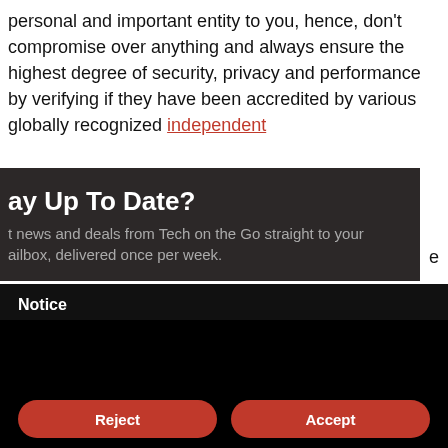personal and important entity to you, hence, don't compromise over anything and always ensure the highest degree of security, privacy and performance by verifying if they have been accredited by various globally recognized independent
Stay Up To Date?
t news and deals from Tech on the Go straight to your ailbox, delivered once per week.
Notice
We and selected third parties use cookies or similar technologies for technical purposes and, with your consent, for other purposes as specified in the cookie policy. Denying consent may make related features unavailable.
You can consent to the use of such technologies by using the "Accept" button, by scrolling this page, by interacting with any link or button outside of this notice or by continuing to browse otherwise.
Reject
Accept